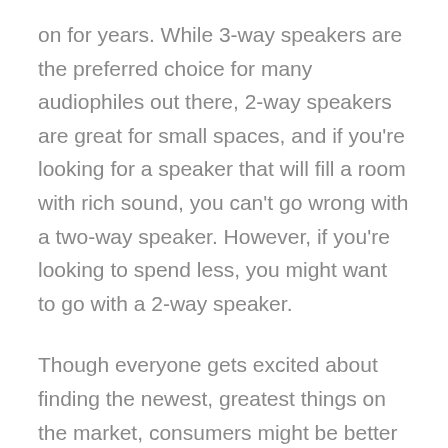on for years. While 3-way speakers are the preferred choice for many audiophiles out there, 2-way speakers are great for small spaces, and if you're looking for a speaker that will fill a room with rich sound, you can't go wrong with a two-way speaker. However, if you're looking to spend less, you might want to go with a 2-way speaker.
Though everyone gets excited about finding the newest, greatest things on the market, consumers might be better off saving their money on the next generation of speakers, especially if you want the best of both worlds. While there are plenty of instances were having three speakers gives an audio experience that is superior to just two, the truth is that the trend has more to do with marketing than actual performance.